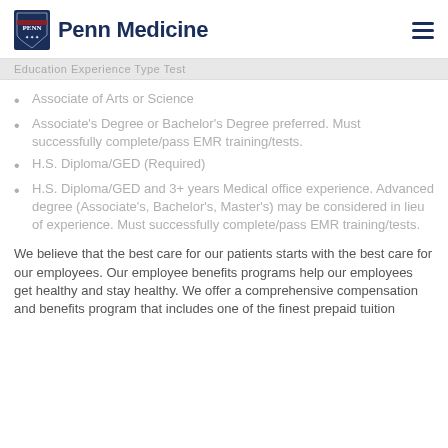Penn Medicine
Education Experience Type Test
Associate of Arts or Science
Associate's Degree or Bachelor's Degree preferred. Must successfully complete/pass EMR training/tests.
H.S. Diploma/GED (Required)
H.S. Diploma/GED and 3+ years Medical office experience. Advanced degree (Associate's, Bachelor's, Master's) may be considered in lieu of experience. Must successfully complete/pass EMR training/tests.
We believe that the best care for our patients starts with the best care for our employees. Our employee benefits programs help our employees get healthy and stay healthy. We offer a comprehensive compensation and benefits program that includes one of the finest prepaid tuition